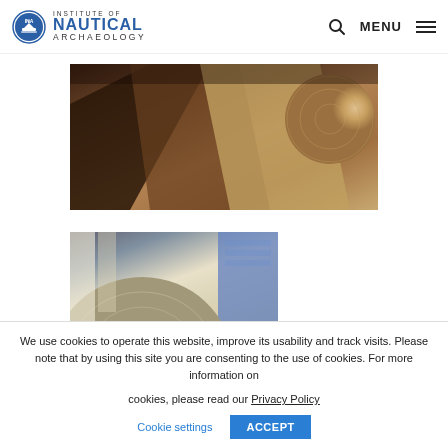Institute of Nautical Archaeology — MENU
[Figure (photo): Photo of wooden planks and a round log/timber piece in a workshop or storage setting, various browns and tans]
[Figure (photo): Close-up photo of a large round wooden disc/shield-like piece with fine grain, workshop background with blue-shirted person visible]
We use cookies to operate this website, improve its usability and track visits. Please note that by using this site you are consenting to the use of cookies. For more information on cookies, please read our Privacy Policy
Cookie settings
ACCEPT